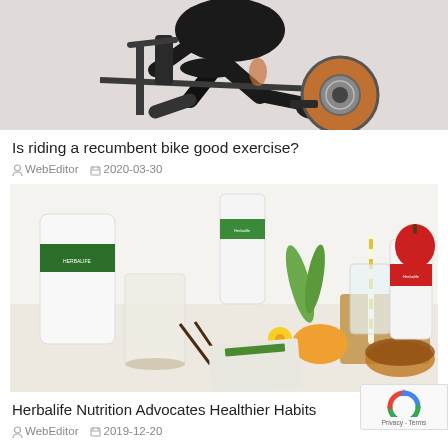[Figure (photo): Person riding a recumbent exercise bike, wearing black clothing, side view showing legs pedaling]
Is riding a recumbent bike good exercise?
WebEditor  2020-03-30
[Figure (photo): Herbalife nutrition products arranged on a table including supplement containers, a glass of milk, aloe plant, mango, apple, and a cup of tea]
Herbalife Nutrition Advocates Healthier Habits
WebEditor  2019-12-20